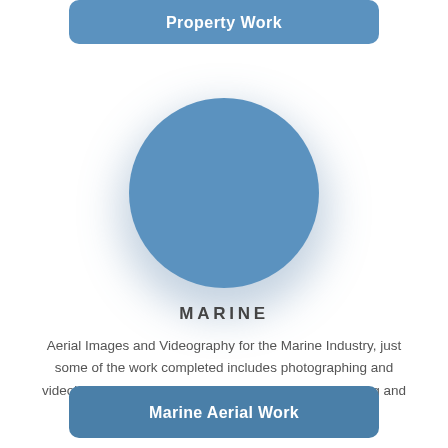Property Work
[Figure (illustration): A blue circle with a drop shadow, representing the Marine section icon]
MARINE
Aerial Images and Videography for the Marine Industry, just some of the work completed includes photographing and videoing for Yacht Brokers, Sailing clubs, Sailing, Racing and Power Boats
Marine Aerial Work